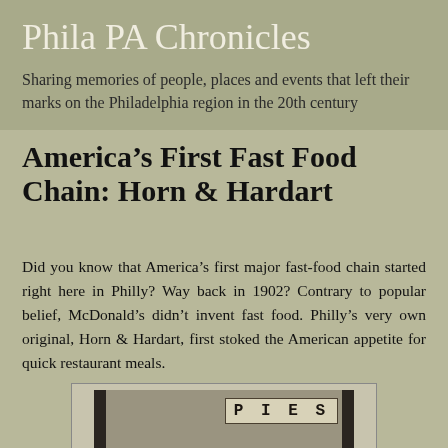Phila PA Chronicles
Sharing memories of people, places and events that left their marks on the Philadelphia region in the 20th century
America’s First Fast Food Chain: Horn & Hardart
Did you know that America’s first major fast-food chain started right here in Philly? Way back in 1902? Contrary to popular belief, McDonald’s didn’t invent fast food. Philly’s very own original, Horn & Hardart, first stoked the American appetite for quick restaurant meals.
[Figure (photo): Black and white photograph of the interior of a Horn & Hardart restaurant, showing a sign reading PIES]